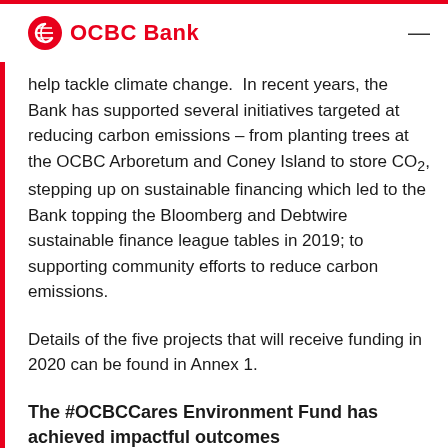OCBC Bank
help tackle climate change.  In recent years, the Bank has supported several initiatives targeted at reducing carbon emissions – from planting trees at the OCBC Arboretum and Coney Island to store CO2, stepping up on sustainable financing which led to the Bank topping the Bloomberg and Debtwire sustainable finance league tables in 2019; to supporting community efforts to reduce carbon emissions.
Details of the five projects that will receive funding in 2020 can be found in Annex 1.
The #OCBCCares Environment Fund has achieved impactful outcomes